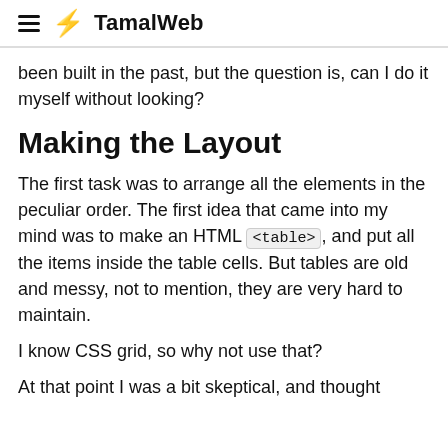TamalWeb
been built in the past, but the question is, can I do it myself without looking?
Making the Layout
The first task was to arrange all the elements in the peculiar order. The first idea that came into my mind was to make an HTML <table>, and put all the items inside the table cells. But tables are old and messy, not to mention, they are very hard to maintain.
I know CSS grid, so why not use that?
At that point I was a bit skeptical, and thought